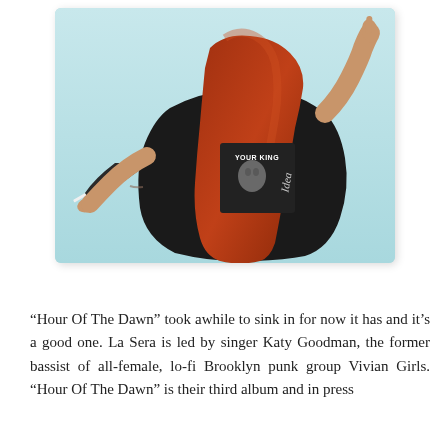[Figure (photo): A person with long red/auburn hair, seen from behind, wearing a black graphic t-shirt with text 'YOUR KING' and an image on the back, with both arms raised and fingers pointing upward, against a light blue sky background.]
“Hour Of The Dawn” took awhile to sink in for now it has and it’s a good one. La Sera is led by singer Katy Goodman, the former bassist of all-female, lo-fi Brooklyn punk group Vivian Girls. “Hour Of The Dawn” is their third album and in press